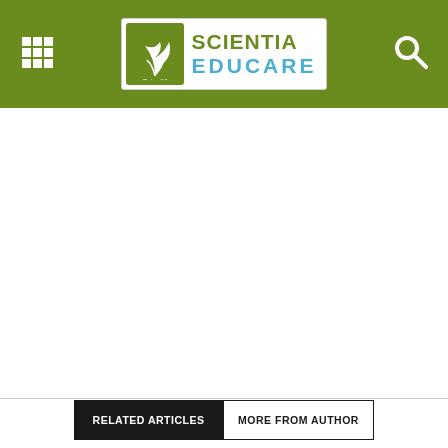Scientia Educare
[Figure (logo): Scientia Educare logo with green plant icon and text]
RELATED ARTICLES   MORE FROM AUTHOR